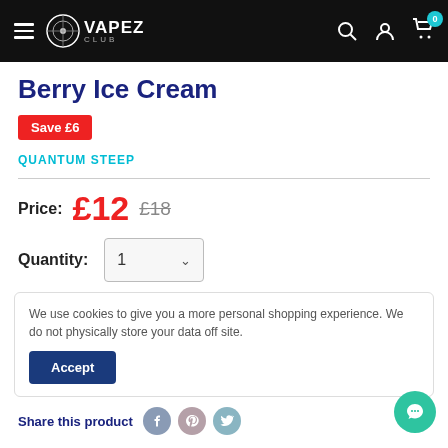VAPEZ CLUB — navigation bar with hamburger menu, logo, search, account, and cart icons (badge: 0)
Berry Ice Cream
Save £6
QUANTUM STEEP
Price: £12  £18
Quantity: 1
We use cookies to give you a more personal shopping experience. We do not physically store your data off site.
Accept
Share this product